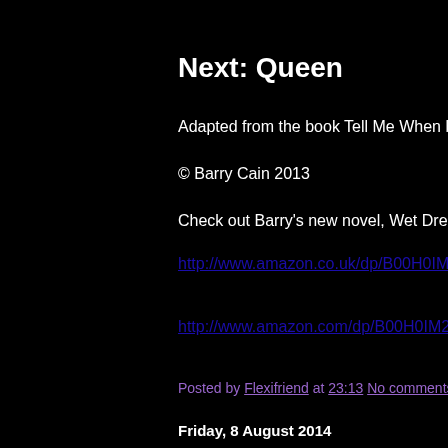Next: Queen
Adapted from the book Tell Me When by Barry Ca…
© Barry Cain 2013
Check out Barry's new novel, Wet Dreams Dry Li…
http://www.amazon.co.uk/dp/B00H0IM2CY
http://www.amazon.com/dp/B00H0IM2CY
Posted by Flexifriend at 23:13 No comments:
Friday, 8 August 2014
June 1979
The Spoiler
Part Three